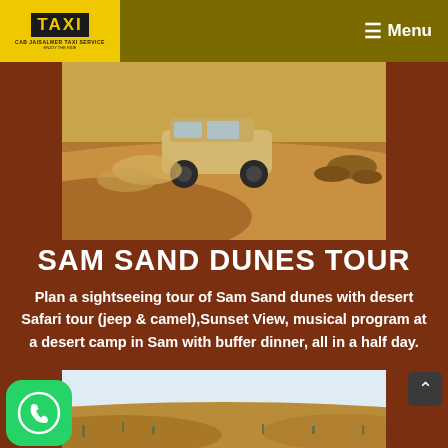TAXI - CAB JAISALMER TAXI SERVICE | Menu
[Figure (photo): SUV/jeep vehicle driving on sand dunes in a desert landscape, sand dust visible]
SAM SAND DUNES TOUR
Plan a sightseeing tour of Sam Sand dunes with desert Safari tour (jeep & camel),Sunset View, musical program at a desert camp in Sam with buffer dinner, all in a half day.
[Figure (photo): Desert landscape with sand dunes and sparse vegetation under a hazy sky]